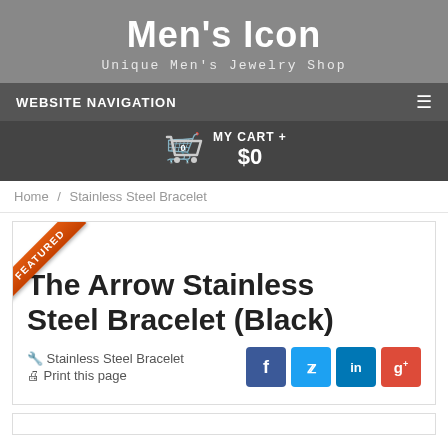Men's Icon
Unique Men's Jewelry Shop
WEBSITE NAVIGATION
MY CART + $0
Home / Stainless Steel Bracelet
The Arrow Stainless Steel Bracelet (Black)
Stainless Steel Bracelet   Print this page